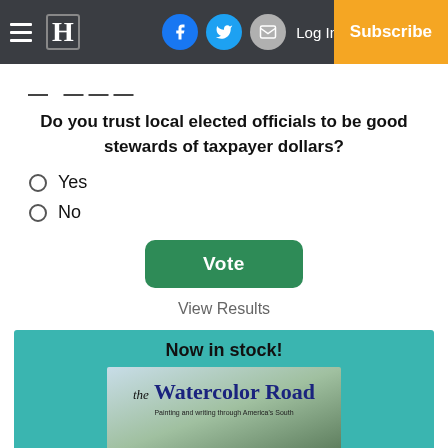Newspaper navigation bar with hamburger menu, H logo, Facebook, Twitter, Email icons, Log In link, and Subscribe button
— ————
Do you trust local elected officials to be good stewards of taxpayer dollars?
Yes
No
Vote
View Results
[Figure (other): Book advertisement with teal background showing 'Now in stock!' heading and 'the Watercolor Road' book cover with subtitle 'Painting and writing through America's South']